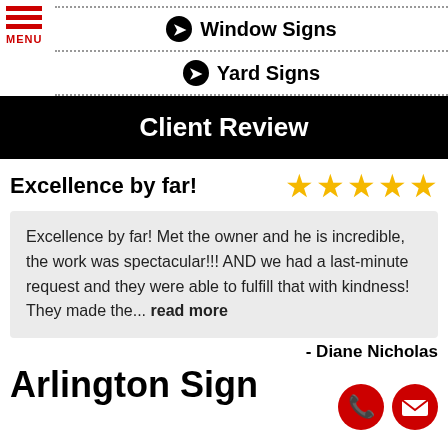[Figure (logo): Hamburger menu icon with three red horizontal bars and MENU label in red]
Window Signs
Yard Signs
Client Review
Excellence by far!
Excellence by far! Met the owner and he is incredible, the work was spectacular!!! AND we had a last-minute request and they were able to fulfill that with kindness! They made the... read more
- Diane Nicholas
Arlington Sign